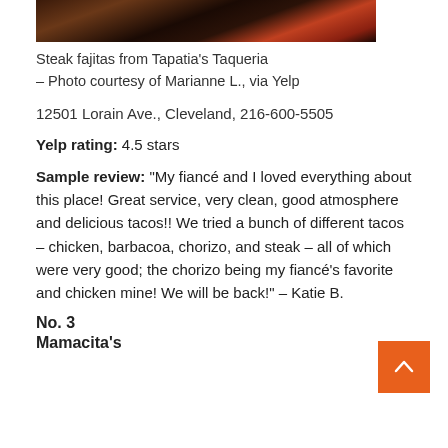[Figure (photo): Partial photo of steak fajitas from Tapatia's Taqueria, showing food wrapped in foil with dark background]
Steak fajitas from Tapatia's Taqueria – Photo courtesy of Marianne L., via Yelp
12501 Lorain Ave., Cleveland, 216-600-5505
Yelp rating: 4.5 stars
Sample review: “My fiancé and I loved everything about this place! Great service, very clean, good atmosphere and delicious tacos!! We tried a bunch of different tacos – chicken, barbacoa, chorizo, and steak – all of which were very good; the chorizo being my fiancé’s favorite and chicken mine! We will be back!” – Katie B.
No. 3
Mamacita’s